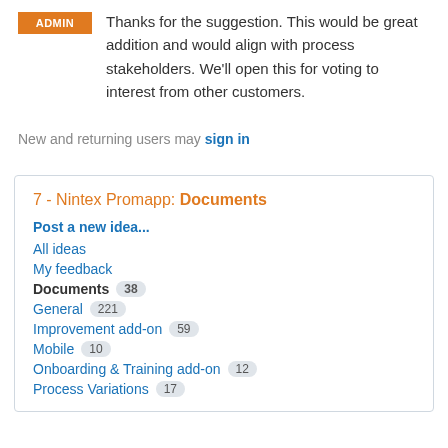[Figure (logo): Orange ADMIN badge/label]
Thanks for the suggestion. This would be great addition and would align with process stakeholders. We'll open this for voting to interest from other customers.
New and returning users may sign in
7 - Nintex Promapp: Documents
Post a new idea...
All ideas
My feedback
Documents 38
General 221
Improvement add-on 59
Mobile 10
Onboarding & Training add-on 12
Process Variations 17